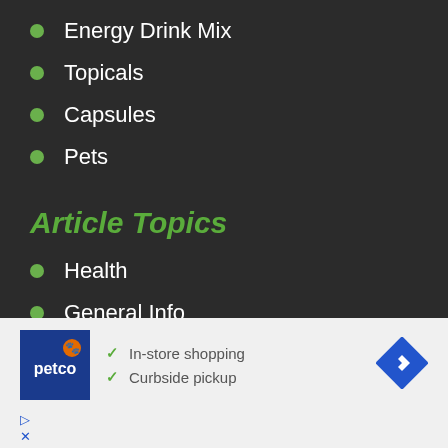Energy Drink Mix
Topicals
Capsules
Pets
Article Topics
Health
General Info
Legal
CBD Science
[Figure (infographic): Petco advertisement banner showing logo, checkmarks for In-store shopping and Curbside pickup, and a blue direction arrow icon]